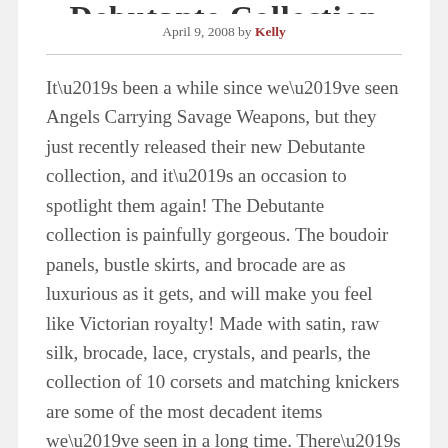Debutante Collection
April 9, 2008 by Kelly
It’s been a while since we’ve seen Angels Carrying Savage Weapons, but they just recently released their new Debutante collection, and it’s an occasion to spotlight them again! The Debutante collection is painfully gorgeous. The boudoir panels, bustle skirts, and brocade are as luxurious as it gets, and will make you feel like Victorian royalty! Made with satin, raw silk, brocade, lace, crystals, and pearls, the collection of 10 corsets and matching knickers are some of the most decadent items we’ve seen in a long time. There’s